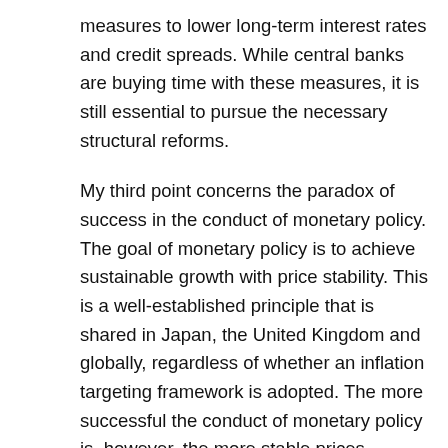measures to lower long-term interest rates and credit spreads. While central banks are buying time with these measures, it is still essential to pursue the necessary structural reforms.
My third point concerns the paradox of success in the conduct of monetary policy. The goal of monetary policy is to achieve sustainable growth with price stability. This is a well-established principle that is shared in Japan, the United Kingdom and globally, regardless of whether an inflation targeting framework is adopted. The more successful the conduct of monetary policy is, however, the more stable prices become and the less volatility is seen in economic activity and financial markets. When the expectation prevails that a stable economic and financial environment will continue for a long period of time, it is likely to encourage leverage and maturity mismatches between the assets and liabilities of financial institutions. The greater the leverage and maturity mismatches are, the more exposed the economy to a possible unwinding triggered by a given event, so the more fragile it becomes. The bursting of bubbles is the materialization of such fragility. Before the global financial crisis, there was a debate over how to deal with bubbles, with one camp stressing ex-ante prevention and another emphasizing the importance of ex-post